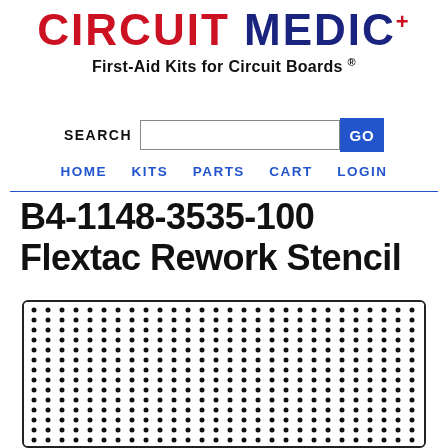[Figure (logo): Circuit Medic logo with red CIRCUIT text and dark blue MEDIC+ text]
First-Aid Kits for Circuit Boards ®
SEARCH [input] GO
HOME  KITS  PARTS  CART  LOGIN
B4-1148-3535-100 Flextac Rework Stencil
[Figure (photo): Close-up photo of a Flextac rework stencil showing a grid of small dots/holes on a dark background, inside a rounded rectangle border]